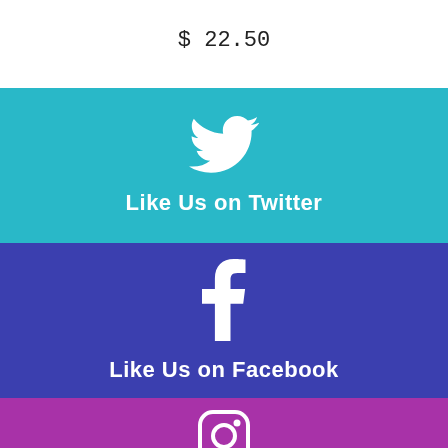$ 22.50
[Figure (illustration): Twitter social media banner with white Twitter bird icon and text 'Like Us on Twitter' on teal/cyan background]
[Figure (illustration): Facebook social media banner with white Facebook 'f' icon and text 'Like Us on Facebook' on dark blue/purple background]
[Figure (illustration): Instagram social media banner with white Instagram camera icon on purple/magenta background, partially visible]